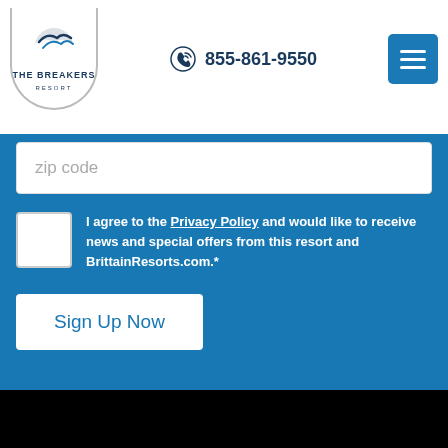[Figure (logo): The Breakers Resort logo with stylized wave mark]
855-861-9550
zip code
I agree to the Privacy Policy and would like to receive news and special offers from this resort and BrittainResorts.com.*
Sign Up Now
[Figure (photo): Sunset over ocean with pink and blue sky]
This site uses cookies to improve your experience. Learn More
AGREE